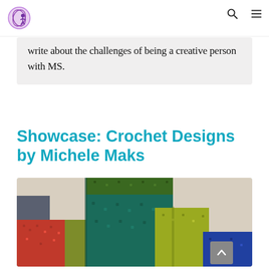Navigation bar with logo, search icon, and menu icon
write about the challenges of being a creative person with MS.
Showcase: Crochet Designs by Michele Maks
[Figure (photo): Close-up photo of a colorful crochet blanket folded, showing blocks of green, teal, yellow, red, and blue textured yarn.]